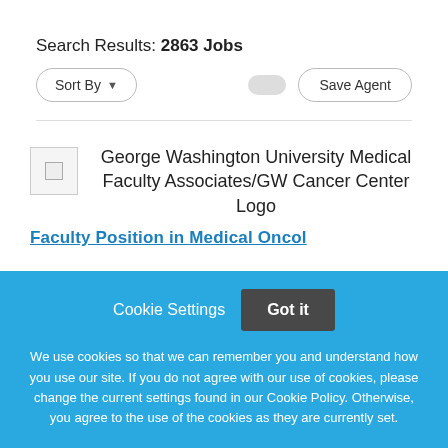Search Results: 2863 Jobs
Sort By  |  Save Agent
[Figure (logo): George Washington University Medical Faculty Associates/GW Cancer Center Logo placeholder image]
George Washington University Medical Faculty Associates/GW Cancer Center Logo
Faculty Position in Medical Oncol... (partially visible, cut off)
Cookie Settings  Got it
We use cookies so that we can remember you and understand how you use our site. If you do not agree with our use of cookies, please change the current settings found in our Cookie Policy. Otherwise, you agree to the use of the cookies as they are currently set.